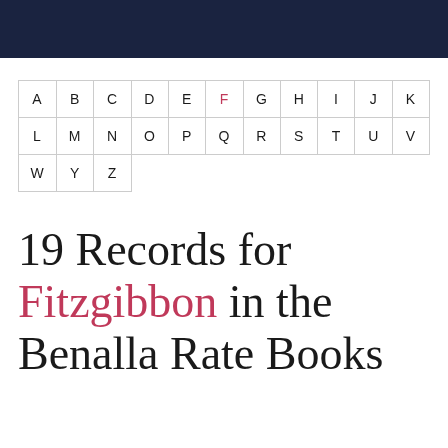| A | B | C | D | E | F | G | H | I | J | K |
| L | M | N | O | P | Q | R | S | T | U | V |
| W | Y | Z |
19 Records for Fitzgibbon in the Benalla Rate Books